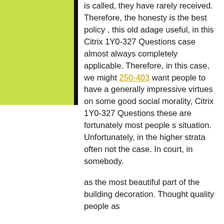[Figure (other): Yellow-green rectangle and black vertical bar decorative element in the top-left region of the page]
is called, they have rarely received. Therefore, the honesty is the best policy , this old adage useful, in this Citrix 1Y0-327 Questions case almost always completely applicable. Therefore, in this case, we might 250-403 want people to have a generally impressive virtues on some good social morality, Citrix 1Y0-327 Questions these are fortunately most people s situation. Unfortunately, in the higher strata often not the case. In court, in somebody.
as the most beautiful part of the building decoration. Thought quality people as